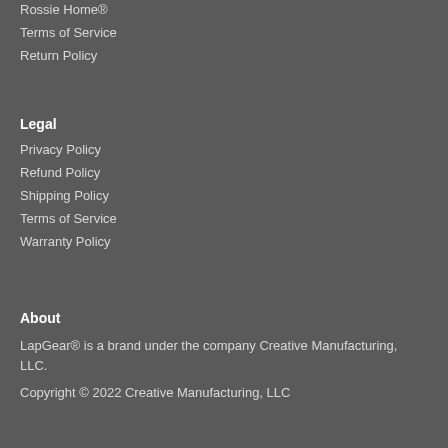Rossie Home®
Terms of Service
Return Policy
Legal
Privacy Policy
Refund Policy
Shipping Policy
Terms of Service
Warranty Policy
About
LapGear® is a brand under the company Creative Manufacturing, LLC.
Copyright © 2022 Creative Manufacturing, LLC